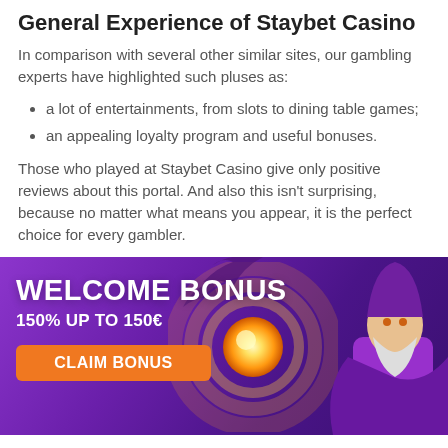General Experience of Staybet Casino
In comparison with several other similar sites, our gambling experts have highlighted such pluses as:
a lot of entertainments, from slots to dining table games;
an appealing loyalty program and useful bonuses.
Those who played at Staybet Casino give only positive reviews about this portal. And also this isn't surprising, because no matter what means you appear, it is the perfect choice for every gambler.
[Figure (illustration): Casino welcome bonus banner with a wizard character and glowing orb on a purple gradient background. Shows text 'WELCOME BONUS', '150% UP TO 150€', and a 'CLAIM BONUS' orange button.]